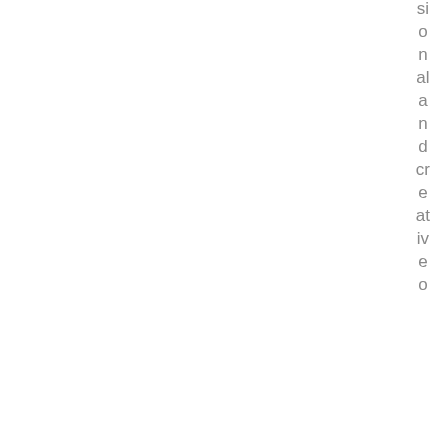si o n al a n d cr e at iv e o